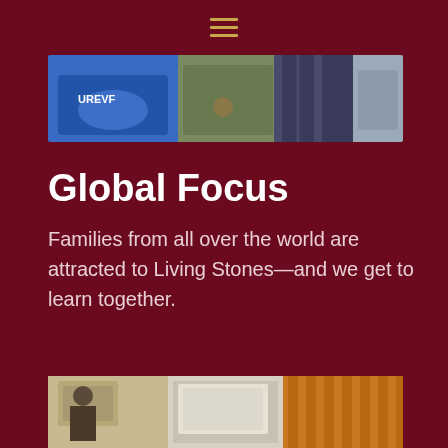[Figure (photo): Hamburger menu icon with three horizontal gold/yellow lines centered at top of page]
[Figure (photo): Photo of children sitting together, wearing colorful clothing including a blue hoodie with text and plaid shirt]
Global Focus
Families from all over the world are attracted to Living Stones—and we get to learn together.
[Figure (photo): Partial photo at bottom showing students in a classroom or school setting]